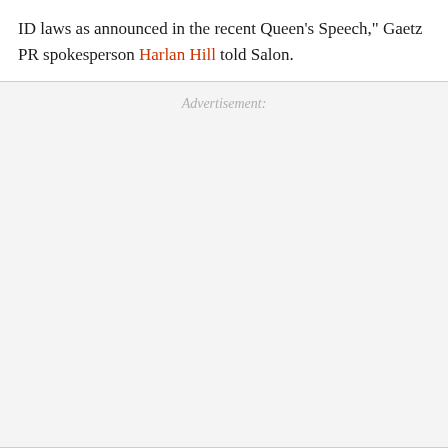ID laws as announced in the recent Queen's Speech," Gaetz PR spokesperson Harlan Hill told Salon.
Advertisement: